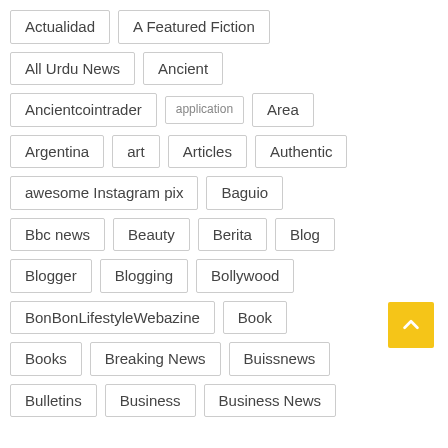Actualidad
A Featured Fiction
All Urdu News
Ancient
Ancientcointrader
application
Area
Argentina
art
Articles
Authentic
awesome Instagram pix
Baguio
Bbc news
Beauty
Berita
Blog
Blogger
Blogging
Bollywood
BonBonLifestyleWebazine
Book
Books
Breaking News
Buissnews
Bulletins
Business
Business News